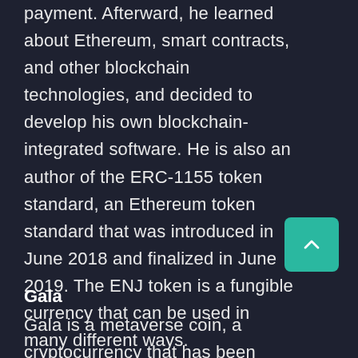payment. Afterward, he learned about Ethereum, smart contracts, and other blockchain technologies, and decided to develop his own blockchain-integrated software. He is also an author of the ERC-1155 token standard, an Ethereum token standard that was introduced in June 2018 and finalized in June 2019. The ENJ token is a fungible currency that can be used in many different ways.
Gala
Gala is a metaverse coin, a cryptocurrency that has been used to enable gamers to own valuable tokens within the game. This